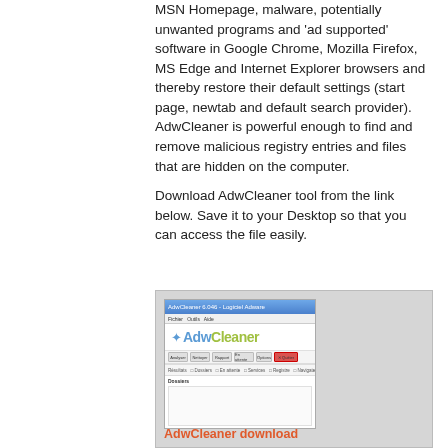MSN Homepage, malware, potentially unwanted programs and 'ad supported' software in Google Chrome, Mozilla Firefox, MS Edge and Internet Explorer browsers and thereby restore their default settings (start page, newtab and default search provider). AdwCleaner is powerful enough to find and remove malicious registry entries and files that are hidden on the computer.
Download AdwCleaner tool from the link below. Save it to your Desktop so that you can access the file easily.
[Figure (screenshot): Screenshot of AdwCleaner application window with logo showing blue star and 'AdwCleaner' text in blue and green colors, toolbar with scan/clean buttons, and results area]
AdwCleaner download